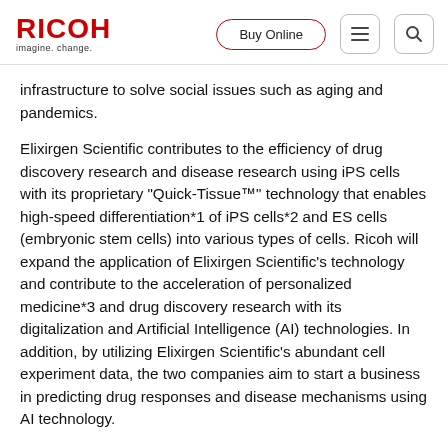RICOH imagine. change. | Buy Online
infrastructure to solve social issues such as aging and pandemics.
Elixirgen Scientific contributes to the efficiency of drug discovery research and disease research using iPS cells with its proprietary “Quick-Tissue™” technology that enables high-speed differentiation*1 of iPS cells*2 and ES cells (embryonic stem cells) into various types of cells. Ricoh will expand the application of Elixirgen Scientific’s technology and contribute to the acceleration of personalized medicine*3 and drug discovery research with its digitalization and Artificial Intelligence (AI) technologies. In addition, by utilizing Elixirgen Scientific’s abundant cell experiment data, the two companies aim to start a business in predicting drug responses and disease mechanisms using AI technology.